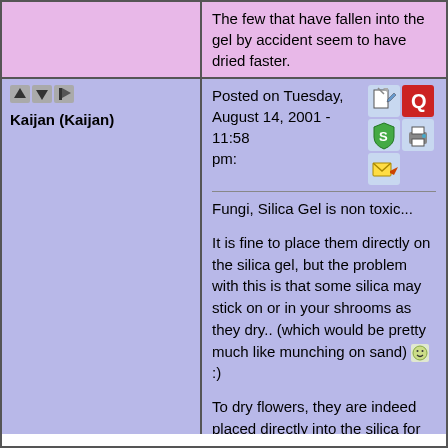The few that have fallen into the gel by accident seem to have dried faster.
Kaijan (Kaijan)
Posted on Tuesday, August 14, 2001 - 11:58 pm:
Fungi, Silica Gel is non toxic...

It is fine to place them directly on the silica gel, but the problem with this is that some silica may stick on or in your shrooms as they dry.. (which would be pretty much like munching on sand) :)

To dry flowers, they are indeed placed directly into the silica for faster drying.

you know what would work well though? putting your shroomies in a pouch of cheesecloth or something of the like, and burrying that into the silica..

whatever works :)